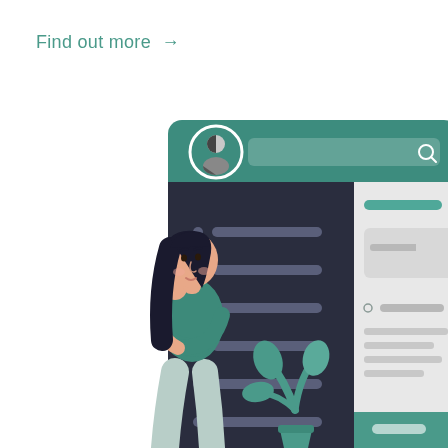Find out more →
[Figure (illustration): Flat vector illustration of a woman with dark hair in a teal top and light grey pants, standing in a thoughtful pose (hand on chin) next to a large UI/app interface mockup. The interface shows a dark sidebar with navigation menu items (dots and horizontal bars representing list items), and a light right panel with a search bar, a teal avatar/profile icon, and content cards including text lines and a teal button at the bottom. A small teal plant sits in the foreground.]